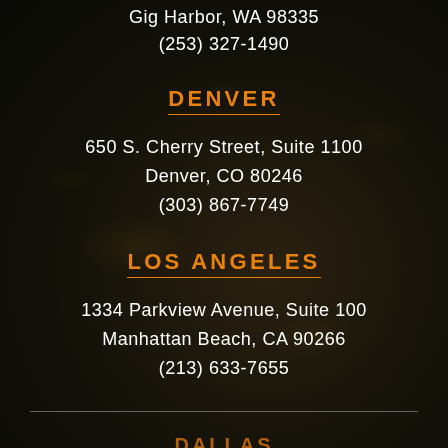Gig Harbor, WA 98335
(253) 327-1490
DENVER
650 S. Cherry Street, Suite 1100
Denver, CO 80246
(303) 867-7749
LOS ANGELES
1334 Parkview Avenue, Suite 100
Manhattan Beach, CA 90266
(213) 633-7655
DALLAS